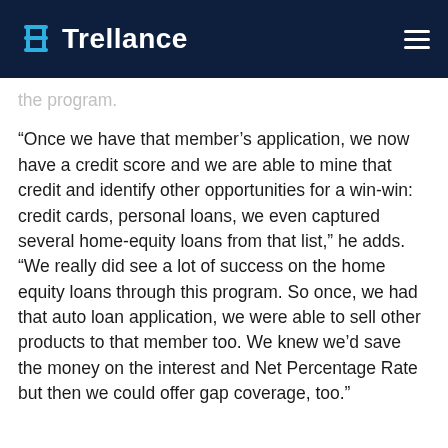Trellance
the program.
“Once we have that member’s application, we now have a credit score and we are able to mine that credit and identify other opportunities for a win-win: credit cards, personal loans, we even captured several home-equity loans from that list,” he adds. “We really did see a lot of success on the home equity loans through this program. So once, we had that auto loan application, we were able to sell other products to that member too. We knew we’d save the money on the interest and Net Percentage Rate but then we could offer gap coverage, too.”